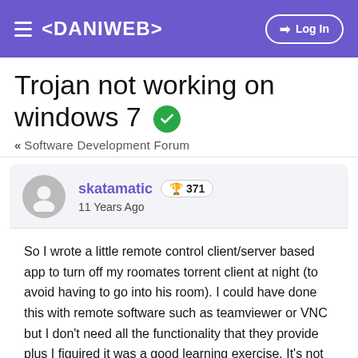≡ <DANIWEB>  → Log In
Trojan not working on windows 7 [solved]
« Software Development Forum
skatamatic  🏆 371
11 Years Ago
So I wrote a little remote control client/server based app to turn off my roomates torrent client at night (to avoid having to go into his room). I could have done this with remote software such as teamviewer or VNC but I don't need all the functionality that they provide plus I figuired it was a good learning exercise. It's not a trojan per se, since he knows it is running so don't flame me! haha.